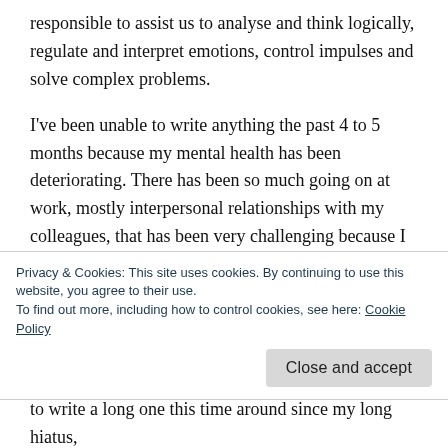responsible to assist us to analyse and think logically, regulate and interpret emotions, control impulses and solve complex problems.
I've been unable to write anything the past 4 to 5 months because my mental health has been deteriorating. There has been so much going on at work, mostly interpersonal relationships with my colleagues, that has been very challenging because I find it very difficult to set boundaries and be assertive, thus, to avoid conflict, I bend over backwards to avoid it at all cost, making me a people pleaser. My therapy sessions the past months have
Privacy & Cookies: This site uses cookies. By continuing to use this website, you agree to their use.
To find out more, including how to control cookies, see here: Cookie Policy
to write a long one this time around since my long hiatus,